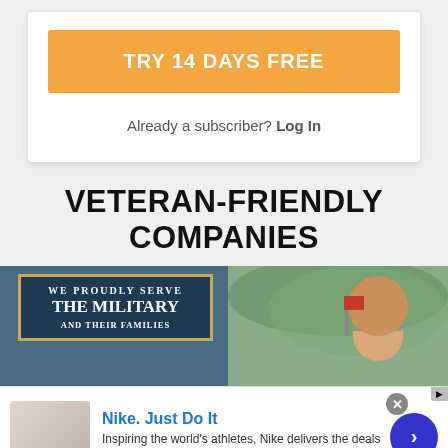TRY 14 DAYS FREE
Already a subscriber? Log In
VETERAN-FRIENDLY COMPANIES
[Figure (photo): Sign reading WE PROUDLY SERVE THE MILITARY AND THEIR FAMILIES, with a child holding a flag in background]
[Figure (screenshot): Nike advertisement overlay: Nike. Just Do It. Inspiring the world's athletes, Nike delivers the deals. www.nike.com]